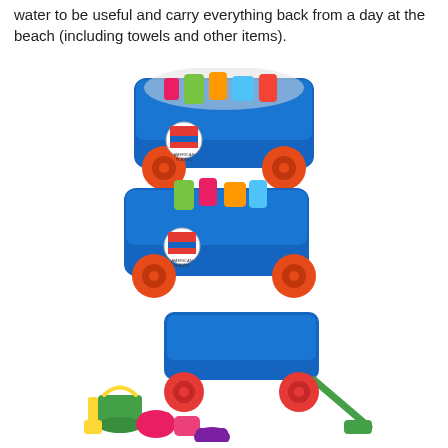water to be useful and carry everything back from a day at the beach (including towels and other items).
[Figure (photo): Two stacked blue plastic toy wagons with orange/red wheels, each filled with colorful beach toys, with American Plastic Toys Inc. hang tags visible.]
[Figure (photo): A single blue plastic toy wagon with red wheels and a green pull handle, displayed alongside beach toy accessories: a green bucket, yellow shovel, pink sand mold shapes, and a purple mold.]